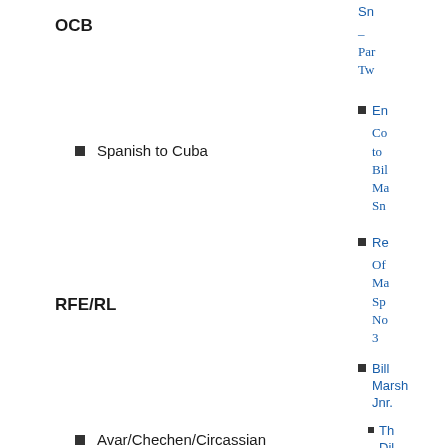OCB
Spanish to Cuba
RFE/RL
Avar/Chechen/Circassian
Belarusian
Dari
Pashto (to FATA and Afghanistan)
Persian
Sn –
Par
Tw
En
Co
to
Bil
Ma
Sn
Re
Of
Ma
Sp
No
3
Bill Marsh Jnr.
Th
Dil
Of
Gr